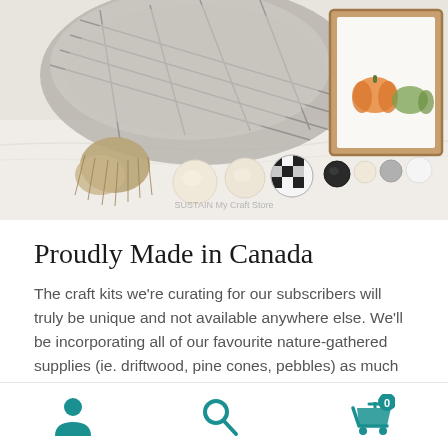[Figure (photo): Craft supplies photo showing decorative wooden beads with buffalo check pattern bead, jute tassel, plaid fabric, and a framed pumpkin print artwork on a white marble surface. Watermark reads 'SUSTAIN My Craft Store'.]
Proudly Made in Canada
The craft kits we're curating for our subscribers will truly be unique and not available anywhere else. We'll be incorporating all of our favourite nature-gathered supplies (ie. driftwood, pine cones, pebbles) as much as
[Figure (infographic): Mobile app navigation bar with three teal icons: user/person icon on left, search/magnifying glass icon in center, and shopping cart icon with badge showing '0' on right.]